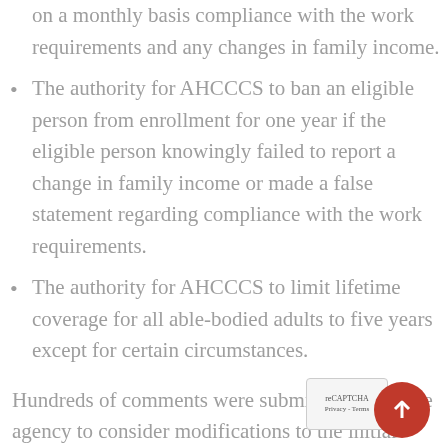on a monthly basis compliance with the work requirements and any changes in family income.
The authority for AHCCCS to ban an eligible person from enrollment for one year if the eligible person knowingly failed to report a change in family income or made a false statement regarding compliance with the work requirements.
The authority for AHCCCS to limit lifetime coverage for all able-bodied adults to five years except for certain circumstances.
Hundreds of comments were submitted urging the agency to consider modifications to the initial waiver request. While AHCCCS hasn't released the details of their final waiver request, they did issue a le...